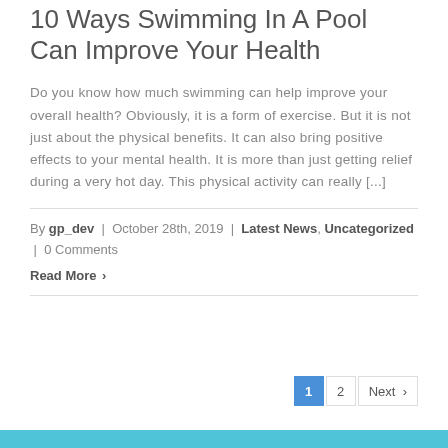10 Ways Swimming In A Pool Can Improve Your Health
Do you know how much swimming can help improve your overall health? Obviously, it is a form of exercise. But it is not just about the physical benefits. It can also bring positive effects to your mental health. It is more than just getting relief during a very hot day. This physical activity can really [...]
By gp_dev | October 28th, 2019 | Latest News, Uncategorized | 0 Comments
Read More ›
1 2 Next ›